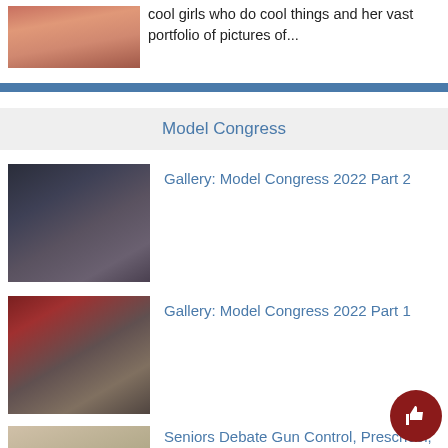[Figure (photo): Partial photo of a girl at top left, cropped]
cool girls who do cool things and her vast portfolio of pictures of...
[Figure (photo): Blue horizontal divider bar]
Model Congress
[Figure (photo): Photo of students at Model Congress 2022 Part 2, young man holding microphone in suit]
Gallery: Model Congress 2022 Part 2
[Figure (photo): Photo of students at Model Congress 2022 Part 1, group in library setting]
Gallery: Model Congress 2022 Part 1
[Figure (photo): Photo of seniors debating at MoCo]
Seniors Debate Gun Control, Preschool, and More at MoCo M